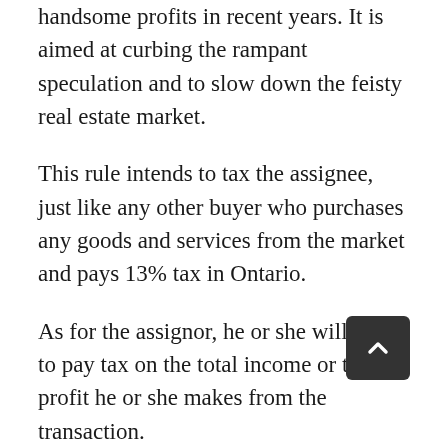handsome profits in recent years. It is aimed at curbing the rampant speculation and to slow down the feisty real estate market.
This rule intends to tax the assignee, just like any other buyer who purchases any goods and services from the market and pays 13% tax in Ontario.
As for the assignor, he or she will have to pay tax on the total income or the profit he or she makes from the transaction.
Note: This blog post and the contents herein DO NOT serve as legal or financial advice. Kindly consult with your professional accountant and lawyer before making any decision regarding sale or purchase of an assignment home or condo, and payment of